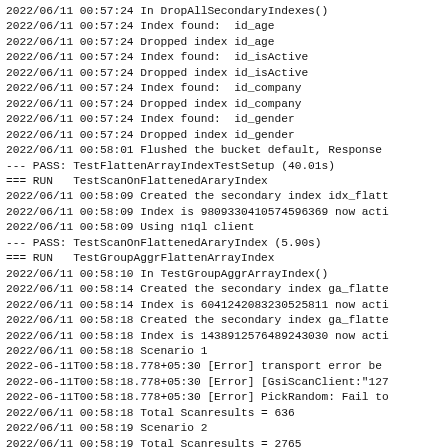2022/06/11 00:57:24 In DropAllSecondaryIndexes()
2022/06/11 00:57:24 Index found:  id_age
2022/06/11 00:57:24 Dropped index id_age
2022/06/11 00:57:24 Index found:  id_isActive
2022/06/11 00:57:24 Dropped index id_isActive
2022/06/11 00:57:24 Index found:  id_company
2022/06/11 00:57:24 Dropped index id_company
2022/06/11 00:57:24 Index found:  id_gender
2022/06/11 00:57:24 Dropped index id_gender
2022/06/11 00:58:01 Flushed the bucket default, Response
--- PASS: TestFlattenArrayIndexTestSetup (40.01s)
=== RUN   TestScanOnFlattenedAraryIndex
2022/06/11 00:58:09 Created the secondary index idx_flatt
2022/06/11 00:58:09 Index is 9809330410574596369 now acti
2022/06/11 00:58:09 Using n1ql client
--- PASS: TestScanOnFlattenedAraryIndex (5.90s)
=== RUN   TestGroupAggrFlattenArrayIndex
2022/06/11 00:58:10 In TestGroupAggrArrayIndex()
2022/06/11 00:58:14 Created the secondary index ga_flatte
2022/06/11 00:58:14 Index is 6041242083230525811 now acti
2022/06/11 00:58:18 Created the secondary index ga_flatte
2022/06/11 00:58:18 Index is 1438912576489243030 now acti
2022/06/11 00:58:18 Scenario 1
2022-06-11T00:58:18.778+05:30 [Error] transport error be
2022-06-11T00:58:18.778+05:30 [Error] [GsiScanClient:"127
2022-06-11T00:58:18.778+05:30 [Error] PickRandom: Fail to
2022/06/11 00:58:18 Total Scanresults = 636
2022/06/11 00:58:19 Scenario 2
2022/06/11 00:58:19 Total Scanresults = 2765
2022/06/11 00:58:19 Scenario 3